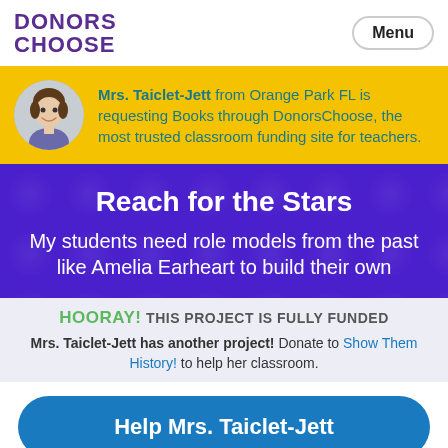DONORS CHOOSE | Menu
Mrs. Taiclet-Jett from Orange Park FL is requesting Books through DonorsChoose, the most trusted classroom funding site for teachers.
Reach for the Stars
My students need role models from the past like Amelia Earheart to build their own
HOORAY! THIS PROJECT IS FULLY FUNDED
Mrs. Taiclet-Jett has another project! Donate to Show Them History! to help her classroom.
Help Mrs. Taiclet-Jett